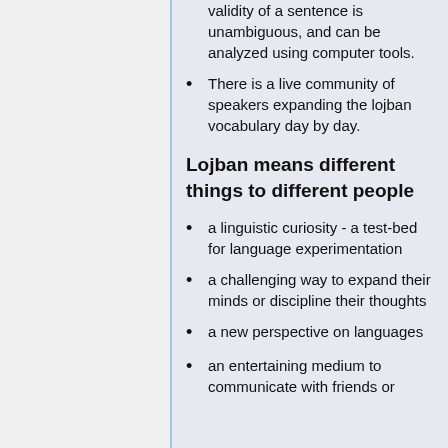validity of a sentence is unambiguous, and can be analyzed using computer tools.
There is a live community of speakers expanding the lojban vocabulary day by day.
Lojban means different things to different people
a linguistic curiosity - a test-bed for language experimentation
a challenging way to expand their minds or discipline their thoughts
a new perspective on languages
an entertaining medium to communicate with friends or